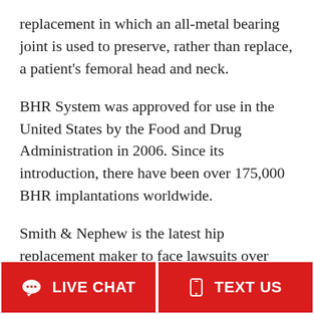replacement in which an all-metal bearing joint is used to preserve, rather than replace, a patient's femoral head and neck.
BHR System was approved for use in the United States by the Food and Drug Administration in 2006. Since its introduction, there have been over 175,000 BHR implantations worldwide.
Smith & Nephew is the latest hip replacement maker to face lawsuits over defective design resulting in personal injury. Smith & Nephew issued a field-safety notice on its BHR implants in 2015, saying the implants had a higher risk of dislocation
LIVE CHAT | TEXT US